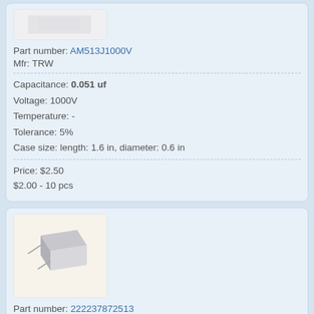[Figure (photo): Product photo of capacitor AM513J1000V (partially visible at top)]
Part number: AM513J1000V
Mfr: TRW
Capacitance: 0.051 uf
Voltage: 1000V
Temperature: -
Tolerance: 5%
Case size: length: 1.6 in, diameter: 0.6 in
Price: $2.50
$2.00 - 10 pcs
[Figure (photo): Product photo of a rectangular capacitor component (VISHAY 222237872513), shown at an angle on light beige background]
Part number: 222237872513
Mfr: VISHAY
Capacitance: 0.051 uf
Voltage: 1000V
Temperature: -